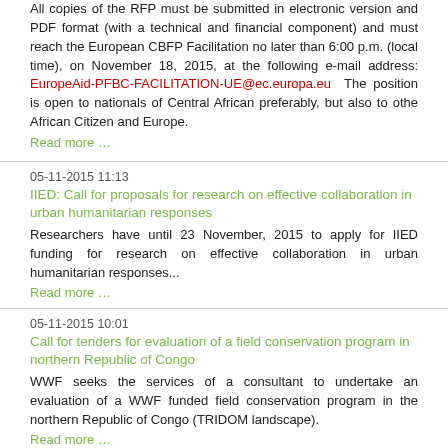All copies of the RFP must be submitted in electronic version and PDF format (with a technical and financial component) and must reach the European CBFP Facilitation no later than 6:00 p.m. (local time), on November 18, 2015, at the following e-mail address: EuropeAid-PFBC-FACILITATION-UE@ec.europa.eu  The position is open to nationals of Central African preferably, but also to othe African Citizen and Europe.
Read more …
05-11-2015 11:13
IIED: Call for proposals for research on effective collaboration in urban humanitarian responses
Researchers have until 23 November, 2015 to apply for IIED funding for research on effective collaboration in urban humanitarian responses...
Read more …
05-11-2015 10:01
Call for tenders for evaluation of a field conservation program in northern Republic of Congo
WWF seeks the services of a consultant to undertake an evaluation of a WWF funded field conservation program in the northern Republic of Congo (TRIDOM landscape).
Read more …
05-11-2015 09:42
Undergraduate and Graduate students
Graduate and Graduate student eligibility and selection criteria…The program is open to residents and citizens of Sub-Saharan African countries. Students must be first-time applicants to MSU. Transfer students are not eligible for the program...
Read more …